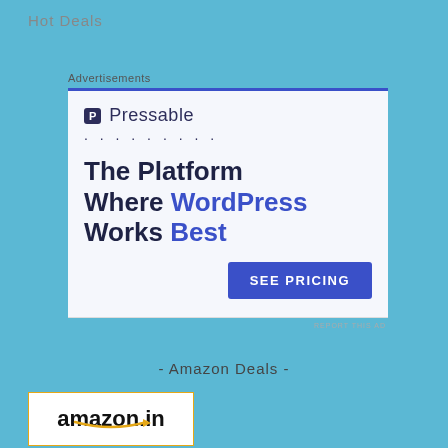Hot Deals
Advertisements
[Figure (screenshot): Pressable advertisement banner showing the Pressable logo (a P icon and the name 'Pressable'), dotted separator, the tagline 'The Platform Where WordPress Works Best' with 'WordPress' and 'Best' in blue, and a blue 'SEE PRICING' button.]
REPORT THIS AD
- Amazon Deals -
[Figure (logo): Amazon.in logo in a bordered box with orange arrow swoosh underneath]